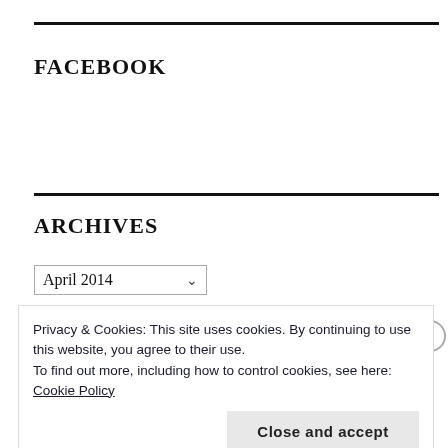FACEBOOK
ARCHIVES
April 2014
Privacy & Cookies: This site uses cookies. By continuing to use this website, you agree to their use.
To find out more, including how to control cookies, see here: Cookie Policy
Close and accept